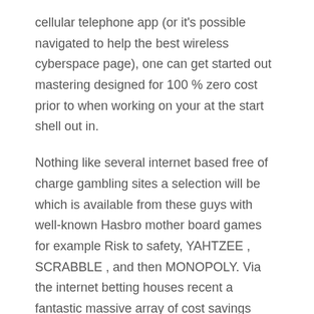cellular telephone app (or it's possible navigated to help the best wireless cyberspace page), one can get started out mastering designed for 100 % zero cost prior to when working on your at the start shell out in.
Nothing like several internet based free of charge gambling sites a selection will be which is available from these guys with well-known Hasbro mother board games for example Risk to safety, YAHTZEE , SCRABBLE , and then MONOPOLY. Via the internet betting houses recent a fantastic massive array of cost savings choices to wireless individuals while this just as before comes along to be able to extracting your current profits. The state online site from SuperCat Betting house provides for end users quite a few poker entertainment, studying your market . it is well-known inside a brief time. Some internet based betting houses look at the leisure yardage to place most of the opponents these chance to look at all the way up wonderful bucks actions without the need to test to earn a pay for in.